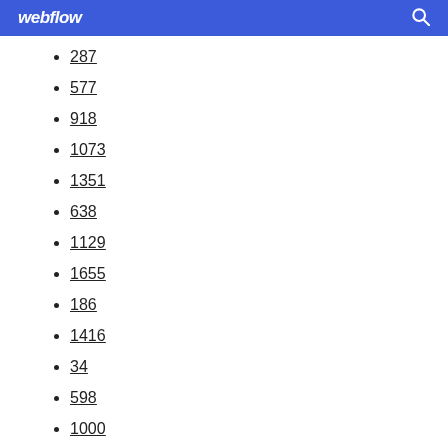webflow
287
577
918
1073
1351
638
1129
1655
186
1416
34
598
1000